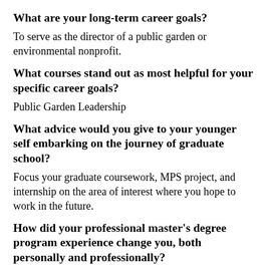What are your long-term career goals?
To serve as the director of a public garden or environmental nonprofit.
What courses stand out as most helpful for your specific career goals?
Public Garden Leadership
What advice would you give to your younger self embarking on the journey of graduate school?
Focus your graduate coursework, MPS project, and internship on the area of interest where you hope to work in the future.
How did your professional master's degree program experience change you, both personally and professionally?
It helped me to build confidence and skills and ultimately get hired in positions I desired within my